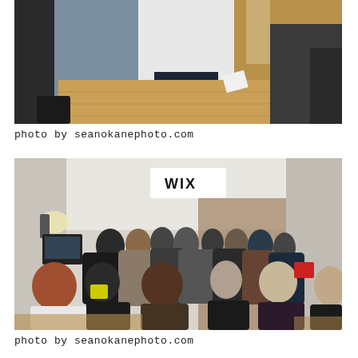[Figure (photo): Indoor event photo showing people standing on wooden floor in a room, one person in white sweater holding papers, another in plaid shirt. Taken from above angle. Dark furniture visible in background.]
photo by seanokanephoto.com
[Figure (photo): Indoor event/networking photo showing a crowded room of people gathered together. A WIX sign is visible on the wall in background. Warm lighting, wooden floor visible at edges.]
photo by seanokanephoto.com